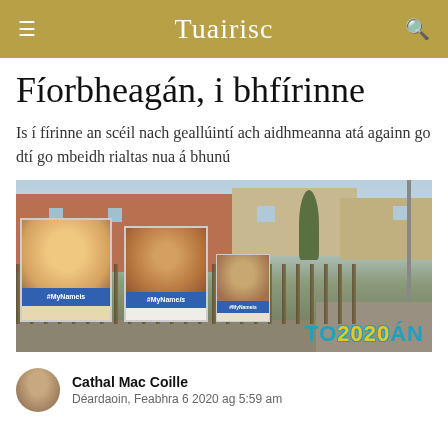Tuairisc
Fíorbheagán, i bhfírinne
Is í fírinne an scéil nach geallúintí ach aidhmeanna atá againn go dtí go mbeidh rialtas nua á bhunú
[Figure (photo): Street scene with iron fence, posters showing children with #MyNameIs banners, row of terraced houses, TO2020ÁN logo overlay]
Cathal Mac Coille
Déardaoin, Feabhra 6 2020 ag 5:59 am